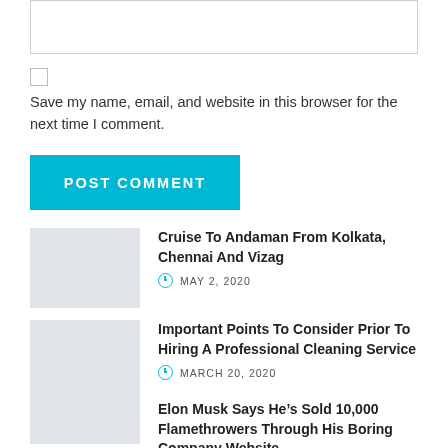[Figure (other): Text area input box (empty)]
[Figure (other): Checkbox (unchecked)]
Save my name, email, and website in this browser for the next time I comment.
[Figure (other): POST COMMENT button (teal/cyan background)]
Cruise To Andaman From Kolkata, Chennai And Vizag
MAY 2, 2020
Important Points To Consider Prior To Hiring A Professional Cleaning Service
MARCH 20, 2020
Elon Musk Says He’s Sold 10,000 Flamethrowers Through His Boring Company Website
FEBRUARY 17, 2020